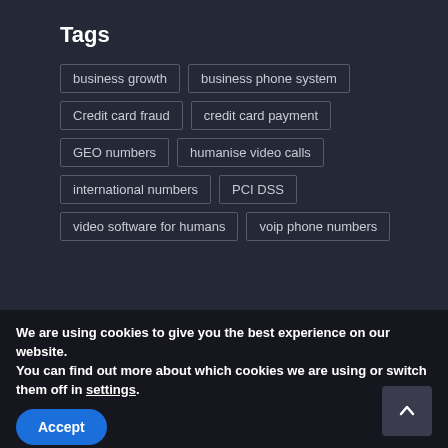Tags
business growth
business phone system
Credit card fraud
credit card payment
GEO numbers
humanise video calls
international numbers
PCI DSS
video software for humans
voip phone numbers
We are using cookies to give you the best experience on our website.
You can find out more about which cookies we are using or switch them off in settings.
Accept